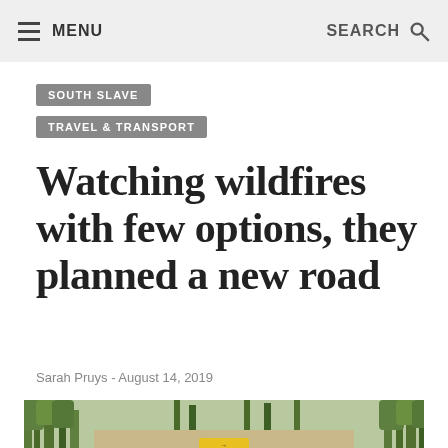MENU | SEARCH
SOUTH SLAVE
TRAVEL & TRANSPORT
Watching wildfires with few options, they planned a new road
Sarah Pruys - August 14, 2019
[Figure (photo): Forest road scene with trees and a yellow road sign partially visible at the bottom]